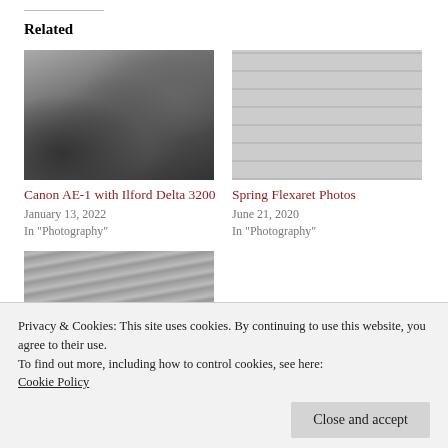Related
[Figure (photo): Black and white photo of a ferris wheel and building with street lamp]
Canon AE-1 with Ilford Delta 3200
January 13, 2022
In "Photography"
[Figure (photo): Black and white photo of a building facade with a bird statue]
Spring Flexaret Photos
June 21, 2020
In "Photography"
[Figure (photo): Black and white photo of a street/building partially visible]
December 21, 2020
In "Photography"
Privacy & Cookies: This site uses cookies. By continuing to use this website, you agree to their use.
To find out more, including how to control cookies, see here:
Cookie Policy
Close and accept